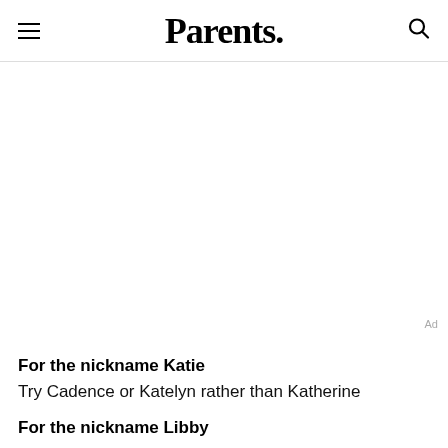Parents.
For the nickname Katie
Try Cadence or Katelyn rather than Katherine
For the nickname Libby